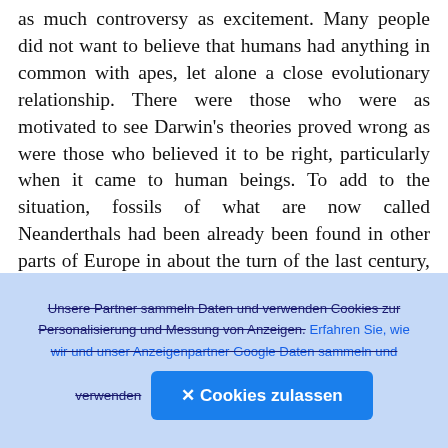as much controversy as excitement. Many people did not want to believe that humans had anything in common with apes, let alone a close evolutionary relationship. There were those who were as motivated to see Darwin's theories proved wrong as were those who believed it to be right, particularly when it came to human beings. To add to the situation, fossils of what are now called Neanderthals had been already been found in other parts of Europe in about the turn of the last century, and these proto-humans were candidates for the missing link or something related to it. The country in which fossils of the missing link were found could rightfully claim to be the
[Figure (other): Camera/capture icon button in dark rounded rectangle]
Unsere Partner sammeln Daten und verwenden Cookies zur Personalisierung und Messung von Anzeigen. Erfahren Sie, wie wir und unser Anzeigenpartner Google Daten sammeln und verwenden   ✕ Cookies zulassen